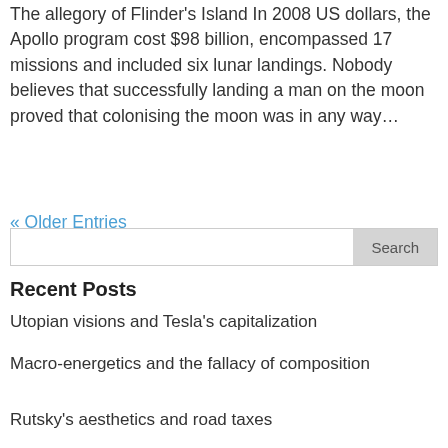The allegory of Flinder's Island In 2008 US dollars, the Apollo program cost $98 billion, encompassed 17 missions and included six lunar landings. Nobody believes that successfully landing a man on the moon proved that colonising the moon was in any way…
« Older Entries
Recent Posts
Utopian visions and Tesla's capitalization
Macro-energetics and the fallacy of composition
Rutsky's aesthetics and road taxes
How should we think about a hydrogen…